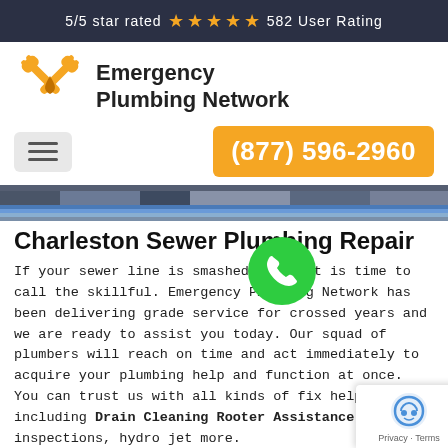5/5 star rated ★★★★★ 582 User Rating
[Figure (logo): Emergency Plumbing Network logo with crossed wrenches and water drop icon in yellow/gold]
Emergency Plumbing Network
[Figure (other): Orange phone number button: (877) 596-2960]
[Figure (photo): Hero image strip showing plumbing pipes and equipment]
Charleston Sewer Plumbing Repair
If your sewer line is smashed, then it is time to call the skillful. Emergency Plumbing Network has been delivering grade service for crossed years and we are ready to assist you today. Our squad of plumbers will reach on time and act immediately to acquire your plumbing help and function at once. You can trust us with all kinds of fix help including Drain Cleaning Rooter Assistance, video inspections, hydro jet more.